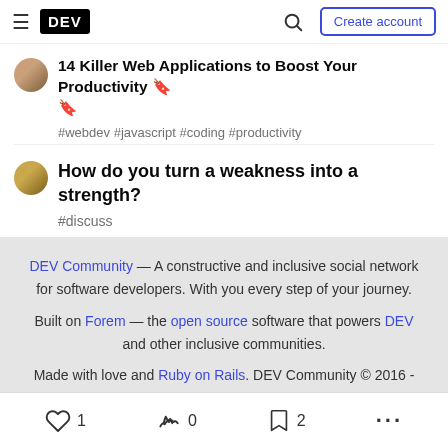DEV | Create account
14 Killer Web Applications to Boost Your Productivity 🔖 🔖
#webdev #javascript #coding #productivity
How do you turn a weakness into a strength?
#discuss
DEV Community — A constructive and inclusive social network for software developers. With you every step of your journey. Built on Forem — the open source software that powers DEV and other inclusive communities. Made with love and Ruby on Rails. DEV Community © 2016 - 2022.
♡ 1   🔥 0   🔖 2   ...